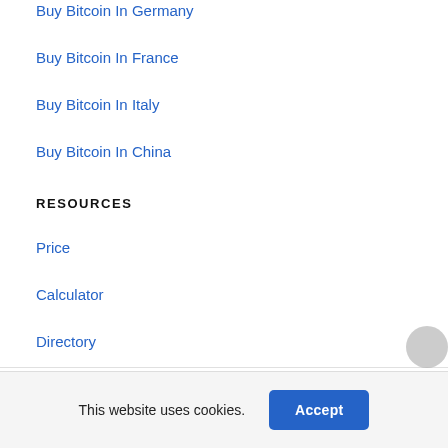Buy Bitcoin In Germany
Buy Bitcoin In France
Buy Bitcoin In Italy
Buy Bitcoin In China
RESOURCES
Price
Calculator
Directory
Bitcoin ATM Map
Affiliate Programs
This website uses cookies.
Accept